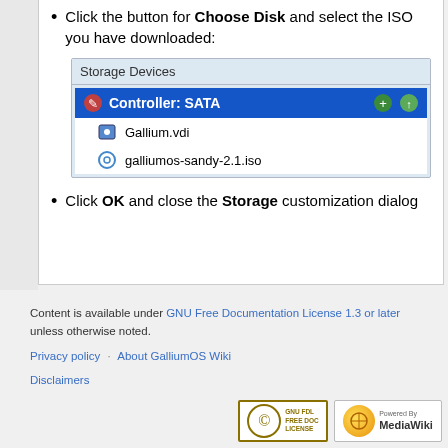Click the button for Choose Disk and select the ISO you have downloaded:
[Figure (screenshot): VirtualBox Storage Devices dialog showing Controller: SATA with Gallium.vdi and galliumos-sandy-2.1.iso entries]
Click OK and close the Storage customization dialog
Content is available under GNU Free Documentation License 1.3 or later unless otherwise noted.
Privacy policy · About GalliumOS Wiki
Disclaimers